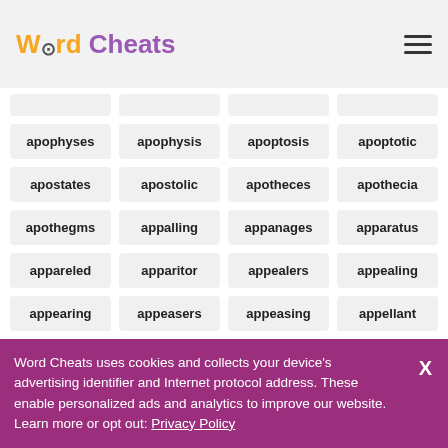Word Cheats
apophyses
apophysis
apoptosis
apoptotic
apostates
apostolic
apotheces
apothecia
apothegms
appalling
appanages
apparatus
appareled
apparitor
appealers
appealing
appearing
appeasers
appeasing
appellant
appellate
appellees
appellors
appendage
Word Cheats uses cookies and collects your device's advertising identifier and Internet protocol address. These enable personalized ads and analytics to improve our website. Learn more or opt out: Privacy Policy